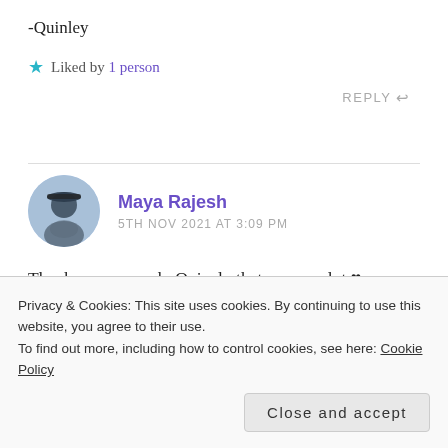-Quinley
★ Liked by 1 person
REPLY ↩
Maya Rajesh says:
5TH NOV 2021 AT 3:09 PM
Thank you so much, Quinely that means a lot ♥ Yes, the HImalayas are so beautiful – thanks for
Privacy & Cookies: This site uses cookies. By continuing to use this website, you agree to their use.
To find out more, including how to control cookies, see here: Cookie Policy
Close and accept